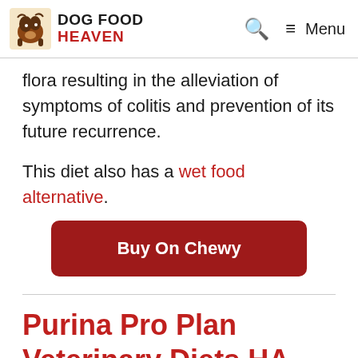DOG FOOD HEAVEN
flora resulting in the alleviation of symptoms of colitis and prevention of its future recurrence.
This diet also has a wet food alternative.
Buy On Chewy
Purina Pro Plan Veterinary Diets HA